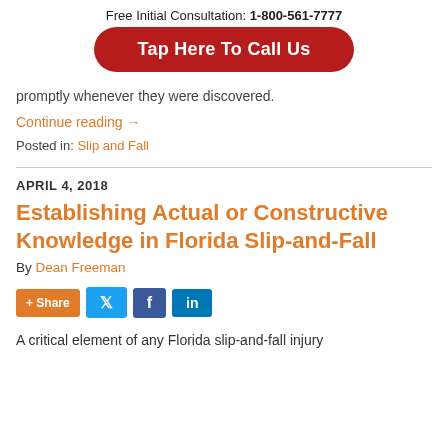Free Initial Consultation: 1-800-561-7777
[Figure (other): Red rounded button reading 'Tap Here To Call Us']
promptly whenever they were discovered.
Continue reading →
Posted in: Slip and Fall
APRIL 4, 2018
Establishing Actual or Constructive Knowledge in Florida Slip-and-Fall
By Dean Freeman
[Figure (other): Social sharing buttons: + Share, Twitter, Facebook, LinkedIn]
A critical element of any Florida slip-and-fall injury